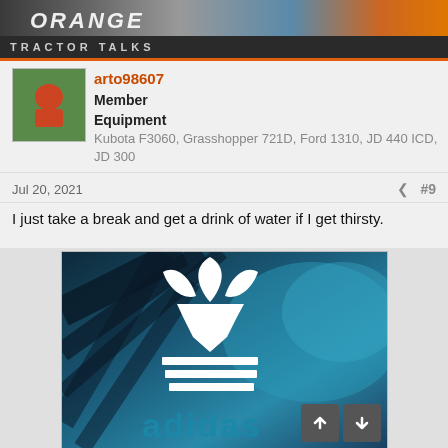[Figure (screenshot): Forum website header banner with orange tractor/equipment imagery and site logo text]
arto98607
Member
Equipment
Kubota F3060, Grasshopper 721D, Ford 1310, JD 440 ICD, JD 300
Jul 20, 2021  #9
I just take a break and get a drink of water if I get thirsty.
[Figure (photo): Adidas logo (white trefoil and three stripes text) on a dark teal/blue background with palm leaf shadows]